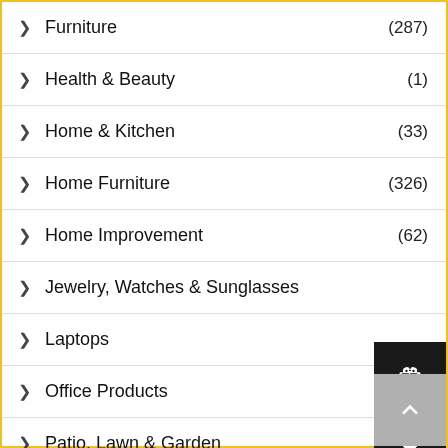Furniture (287)
Health & Beauty (1)
Home & Kitchen (33)
Home Furniture (326)
Home Improvement (62)
Jewelry, Watches & Sunglasses
Laptops
Office Products
Patio, Lawn & Garden (62)
Sport & Fitness (1)